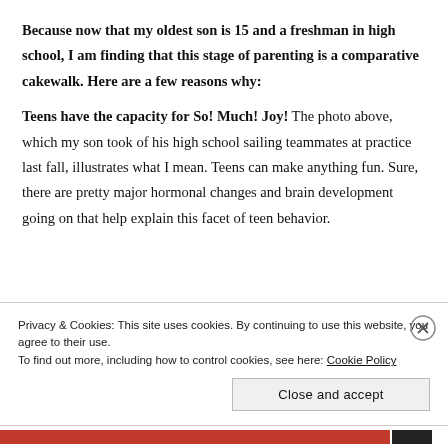Because now that my oldest son is 15 and a freshman in high school, I am finding that this stage of parenting is a comparative cakewalk.   Here are a few reasons why:
Teens have the capacity for So! Much! Joy! The photo above, which my son took of his high school sailing teammates at practice last fall, illustrates what I mean. Teens can make anything fun.  Sure, there are pretty major hormonal changes and brain development going on that help explain this facet of teen behavior.
Privacy & Cookies: This site uses cookies. By continuing to use this website, you agree to their use.
To find out more, including how to control cookies, see here: Cookie Policy
Close and accept